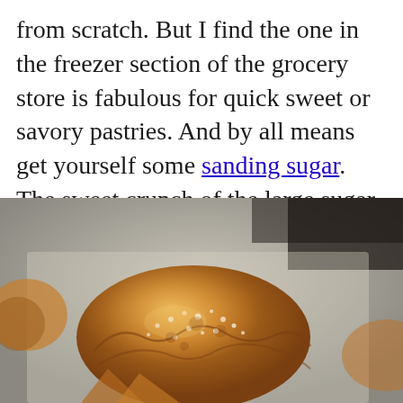from scratch. But I find the one in the freezer section of the grocery store is fabulous for quick sweet or savory pastries. And by all means get yourself some sanding sugar. The sweet crunch of the large sugar crystals give all muffins, cakes, cookies, quick breads and pastries that professional touch.
[Figure (photo): A golden-brown baked pastry (likely a puff pastry parcel) with visible sugar crystals on top, resting on parchment paper. Dark baking tray visible in background.]